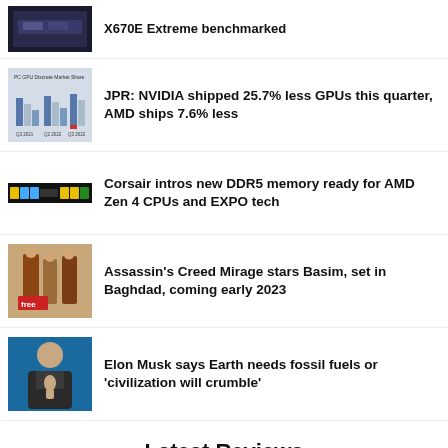X670E Extreme benchmarked
JPR: NVIDIA shipped 25.7% less GPUs this quarter, AMD ships 7.6% less
Corsair intros new DDR5 memory ready for AMD Zen 4 CPUs and EXPO tech
Assassin's Creed Mirage stars Basim, set in Baghdad, coming early 2023
Elon Musk says Earth needs fossil fuels or 'civilization will crumble'
Latest Reviews